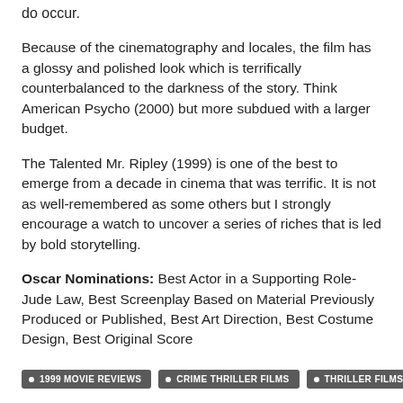do occur.
Because of the cinematography and locales, the film has a glossy and polished look which is terrifically counterbalanced to the darkness of the story. Think American Psycho (2000) but more subdued with a larger budget.
The Talented Mr. Ripley (1999) is one of the best to emerge from a decade in cinema that was terrific. It is not as well-remembered as some others but I strongly encourage a watch to uncover a series of riches that is led by bold storytelling.
Oscar Nominations: Best Actor in a Supporting Role- Jude Law, Best Screenplay Based on Material Previously Produced or Published, Best Art Direction, Best Costume Design, Best Original Score
• 1999 MOVIE REVIEWS  • CRIME THRILLER FILMS  • THRILLER FILMS